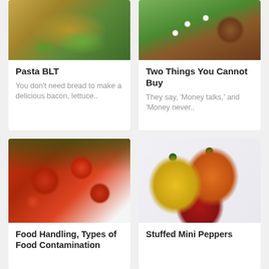[Figure (photo): Photo of pasta with basil leaves on a wooden surface]
Pasta BLT
You don't need bread to make a delicious bacon, lettuce..
[Figure (photo): Photo of flowers and a wooden bucket in a garden]
Two Things You Cannot Buy
They say, 'Money talks,' and 'Money never..
[Figure (photo): Photo of cherry tomatoes on the vine with white sauce or mold]
Food Handling, Types of Food Contamination
[Figure (photo): Photo of yellow, orange, and red mini bell peppers on white background]
Stuffed Mini Peppers